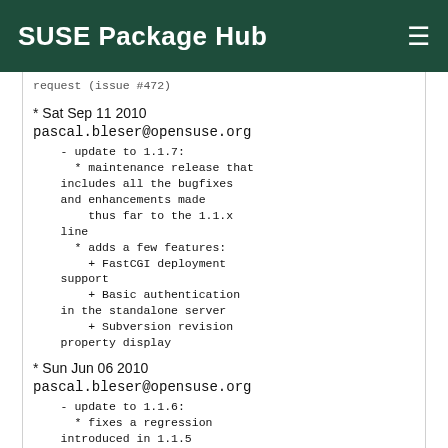SUSE Package Hub
request (issue #472)
* Sat Sep 11 2010
pascal.bleser@opensuse.org
    - update to 1.1.7:
      * maintenance release that
    includes all the bugfixes
    and enhancements made
        thus far to the 1.1.x
    line
      * adds a few features:
        + FastCGI deployment
    support
        + Basic authentication
    in the standalone server
        + Subversion revision
    property display
* Sun Jun 06 2010
pascal.bleser@opensuse.org
    - update to 1.1.6:
      * fixes a regression
    introduced in 1.1.5
      * corrects some bits of
    the RSS feed support
      * introduces rudimentary
    support for WSGI-based
    deployments
* Tue Apr 06 2010
dmueller@suse.de
    - fix buglink patch again